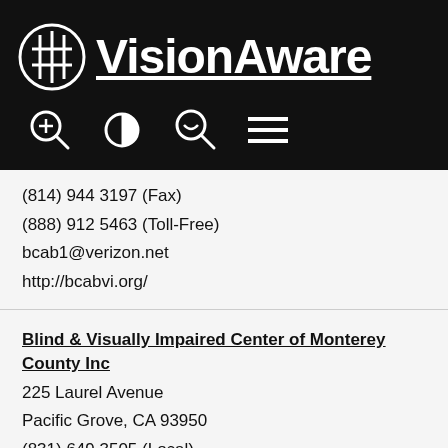[Figure (logo): APH VisionAware logo with navigation icons on black background header bar]
(814) 944 3197 (Fax)
(888) 912 5463 (Toll-Free)
bcab1@verizon.net
http://bcabvi.org/
Blind & Visually Impaired Center of Monterey County Inc
225 Laurel Avenue
Pacific Grove, CA 93950
(831) 649 3505 (Local)
(831) 649 4057 (Fax)
(800) 404 3505 (Toll-Free)